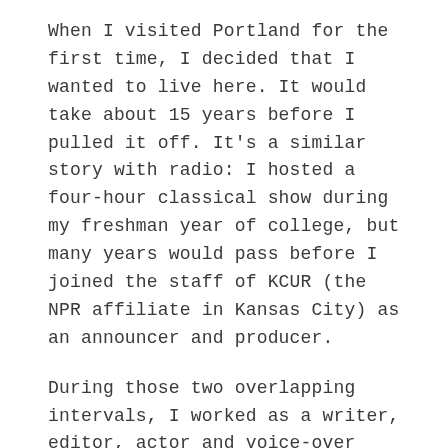When I visited Portland for the first time, I decided that I wanted to live here. It would take about 15 years before I pulled it off. It's a similar story with radio: I hosted a four-hour classical show during my freshman year of college, but many years would pass before I joined the staff of KCUR (the NPR affiliate in Kansas City) as an announcer and producer.
During those two overlapping intervals, I worked as a writer, editor, actor and voice-over artist in San Francisco, New York, Chicago and Seattle. The one unifying theme in all that time and throughout my life has been music: participating in it as a singer, writing